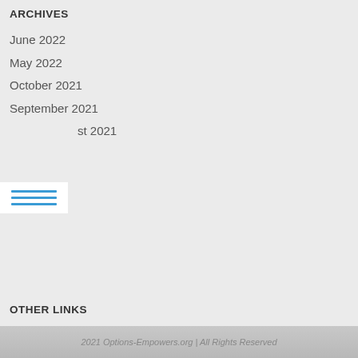ARCHIVES
June 2022
May 2022
October 2021
September 2021
August 2021
OTHER LINKS
About Us
Contact Us
Privacy Policy
Terms of Use
2021 Options-Empowers.org | All Rights Reserved